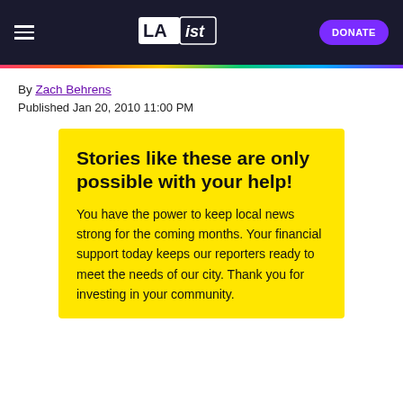LAist | DONATE
By Zach Behrens
Published Jan 20, 2010 11:00 PM
Stories like these are only possible with your help!
You have the power to keep local news strong for the coming months. Your financial support today keeps our reporters ready to meet the needs of our city. Thank you for investing in your community.